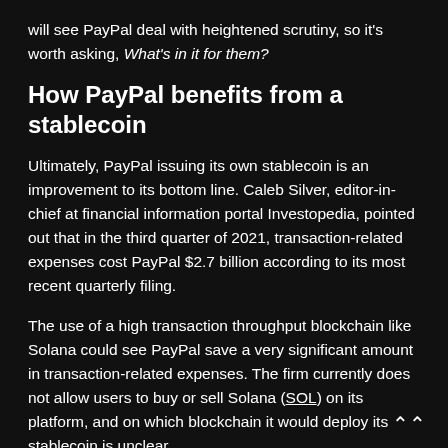will see PayPal deal with heightened scrutiny, so it's worth asking, What's in it for them?
How PayPal benefits from a stablecoin
Ultimately, PayPal issuing its own stablecoin is an improvement to its bottom line. Caleb Silver, editor-in-chief at financial information portal Investopedia, pointed out that in the third quarter of 2021, transaction-related expenses cost PayPal $2.7 billion according to its most recent quarterly filing.
The use of a high transaction throughput blockchain like Solana could see PayPal save a very significant amount in transaction-related expenses. The firm currently does not allow users to buy or sell Solana (SOL) on its platform, and on which blockchain it would deploy its stablecoin is unclear.
Speaking to Cointelegraph, Jerald David, president of